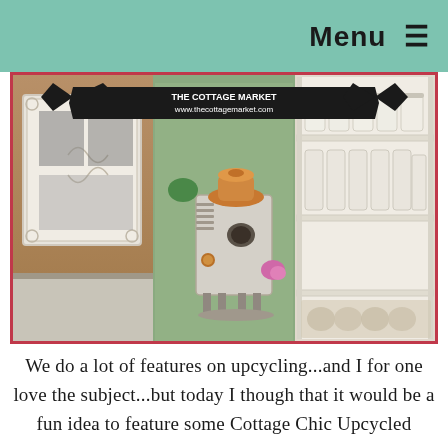Menu ☰
[Figure (photo): Collage of three cottage chic upcycled craft photos: left panel shows an ornate white photo frame with black-and-white photos; center panel shows a steampunk-style birdhouse made from a vintage washing machine with copper kettle top and plants; right panel shows white shelving with mason jars and craft supplies. A black ribbon banner across the top reads 'www.thecottagemarket.com']
We do a lot of features on upcycling...and I for one love the subject...but today I though that it would be a fun idea to feature some Cottage Chic Upcycled creations...hope you enjoy!